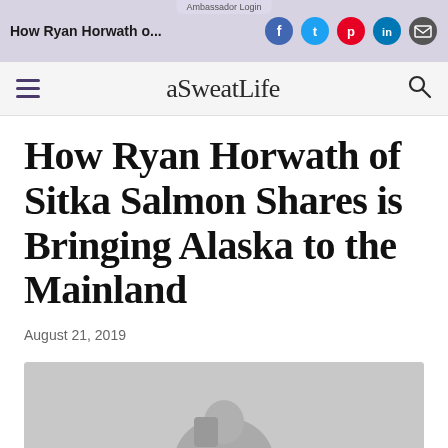How Ryan Horwath o...
Ambassador Login
aSweatLife
How Ryan Horwath of Sitka Salmon Shares is Bringing Alaska to the Mainland
August 21, 2019
[Figure (photo): Black and white photograph showing a person partially visible at the bottom of the frame]